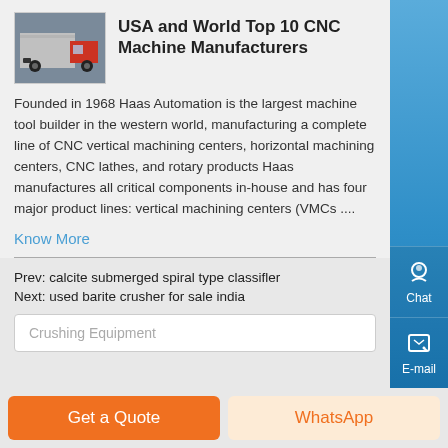[Figure (photo): Thumbnail image of a red truck/heavy vehicle]
USA and World Top 10 CNC Machine Manufacturers
Founded in 1968 Haas Automation is the largest machine tool builder in the western world, manufacturing a complete line of CNC vertical machining centers, horizontal machining centers, CNC lathes, and rotary products Haas manufactures all critical components in-house and has four major product lines: vertical machining centers (VMCs ....
Know More
Prev: calcite submerged spiral type classifler
Next: used barite crusher for sale india
Crushing Equipment
Get a Quote
WhatsApp